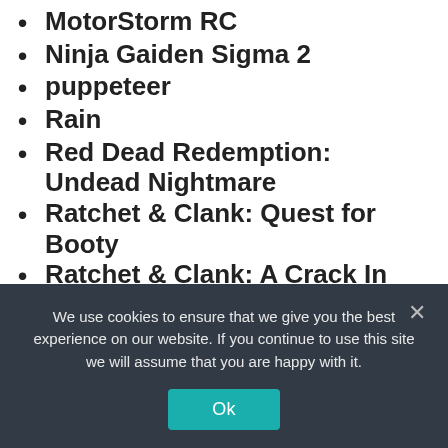MotorStorm RC
Ninja Gaiden Sigma 2
puppeteer
Rain
Red Dead Redemption: Undead Nightmare
Ratchet & Clank: Quest for Booty
Ratchet & Clank: A Crack In Time
Ratchet & Clank: Into the Nexus
Resistance 3
Super Stardust HD
Tokyo Jungle
When Vikings Attack
We use cookies to ensure that we give you the best experience on our website. If you continue to use this site we will assume that you are happy with it.
Ok